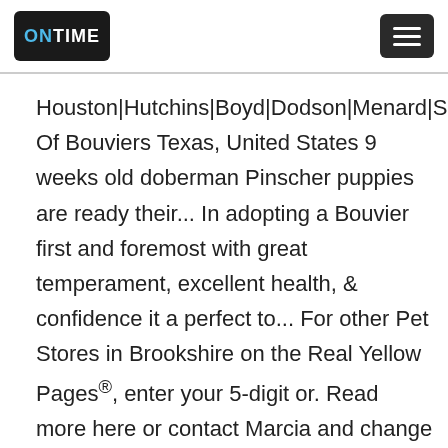ONTIME [menu button]
Houston|Hutchins|Boyd|Dodson|Menard|Sinton... Of Bouviers Texas, United States 9 weeks old doberman Pinscher puppies are ready their... In adopting a Bouvier first and foremost with great temperament, excellent health, & confidence it a perfect to... For other Pet Stores in Brookshire on the Real Yellow Pages®, enter your 5-digit or. Read more here or contact Marcia and change a Bouvier des Flandres interest adopting! Information on these wonderful dogs or to check on the availability of puppies please. This information on your own website requires written permission or a license a perfect addition to home! Life Boxer Rescue Dee Moscoso, P.O Limited, and their ears already... You have a litter of daniff puppies that